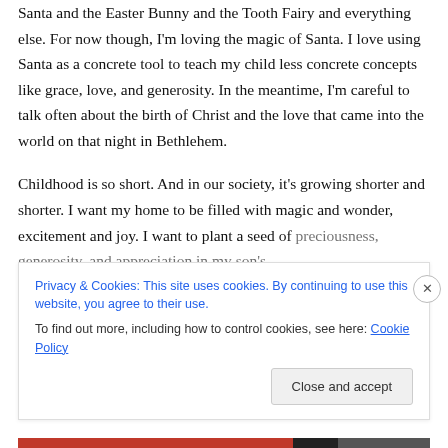Santa and the Easter Bunny and the Tooth Fairy and everything else. For now though, I'm loving the magic of Santa. I love using Santa as a concrete tool to teach my child less concrete concepts like grace, love, and generosity. In the meantime, I'm careful to talk often about the birth of Christ and the love that came into the world on that night in Bethlehem.

Childhood is so short. And in our society, it's growing shorter and shorter. I want my home to be filled with magic and wonder, excitement and joy. I want to plant a seed of preciousness, generosity, and appreciation in my son's
Privacy & Cookies: This site uses cookies. By continuing to use this website, you agree to their use.
To find out more, including how to control cookies, see here: Cookie Policy